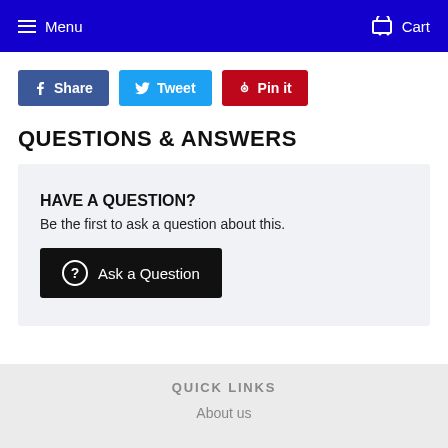Menu   Cart
Share   Tweet   Pin it
QUESTIONS & ANSWERS
HAVE A QUESTION?
Be the first to ask a question about this.
Ask a Question
QUICK LINKS
About us